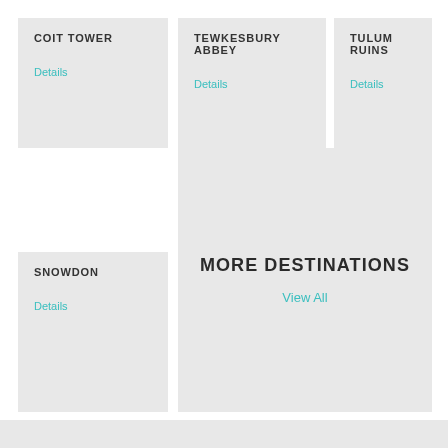COIT TOWER
Details
TEWKESBURY ABBEY
Details
TULUM RUINS
Details
SNOWDON
Details
MORE DESTINATIONS
View All